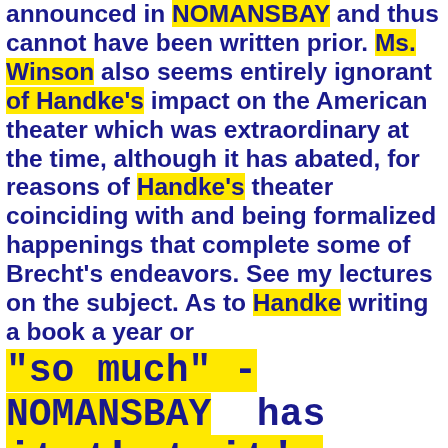announced in NOMANSBAY and thus cannot have been written prior. Ms. Winson also seems entirely ignorant of Handke's impact on the American theater which was extraordinary at the time, although it has abated, for reasons of Handke's theater coinciding with and being formalized happenings that complete some of Brecht's endeavors. See my lectures on the subject. As to Handke writing a book a year or "so much" - NOMANSBAY has it that it's author writing in nature, in